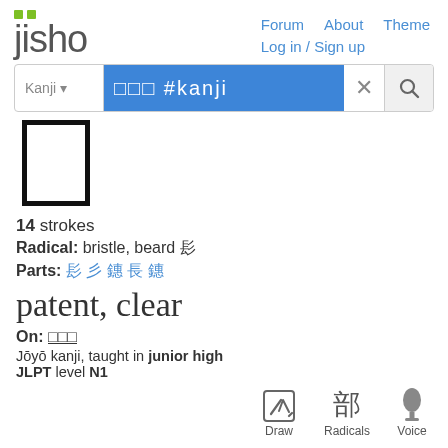jisho — Forum About Theme Log in / Sign up
□□□ #kanji (search input)
[Figure (illustration): Large kanji character stroke outline (rectangular bracket shape) displayed as a large character preview box with thick black border]
14 strokes
Radical: bristle, beard 髟
Parts: 髟 彡 镸 長 镸
patent, clear
On: 顕顕顕
Jōyō kanji, taught in junior high JLPT level N1